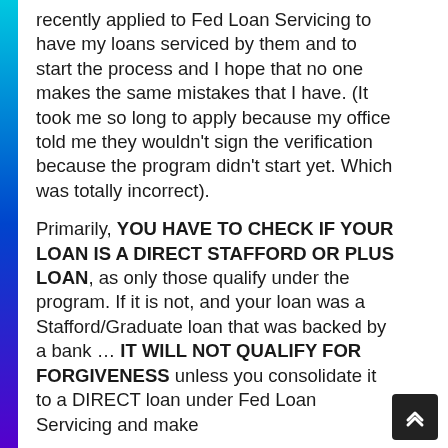recently applied to Fed Loan Servicing to have my loans serviced by them and to start the process and I hope that no one makes the same mistakes that I have. (It took me so long to apply because my office told me they wouldn't sign the verification because the program didn't start yet. Which was totally incorrect).
Primarily, YOU HAVE TO CHECK IF YOUR LOAN IS A DIRECT STAFFORD OR PLUS LOAN, as only those qualify under the program. If it is not, and your loan was a Stafford/Graduate loan that was backed by a bank … IT WILL NOT QUALIFY FOR FORGIVENESS unless you consolidate it to a DIRECT loan under Fed Loan Servicing and make